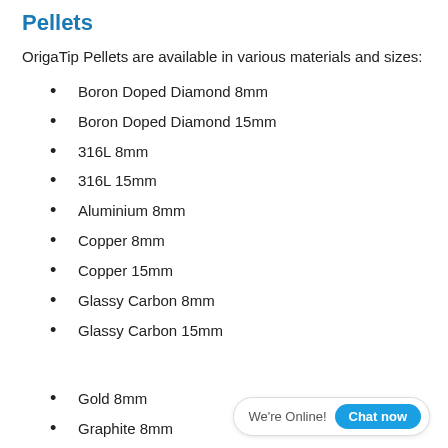Pellets
OrigaTip Pellets are available in various materials and sizes:
Boron Doped Diamond 8mm
Boron Doped Diamond 15mm
316L 8mm
316L 15mm
Aluminium 8mm
Copper 8mm
Copper 15mm
Glassy Carbon 8mm
Glassy Carbon 15mm
Gold 8mm
Graphite 8mm